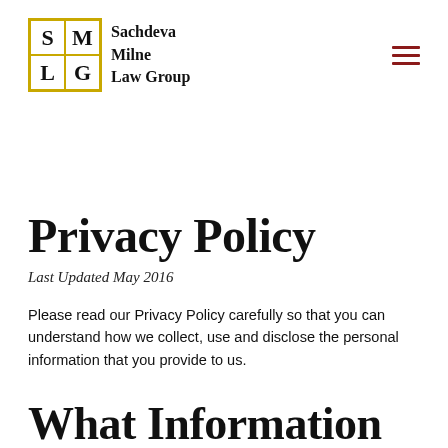[Figure (logo): Sachdeva Milne Law Group logo with gold-bordered 2x2 grid showing letters S, M, L, G and firm name text]
Privacy Policy
Last Updated May 2016
Please read our Privacy Policy carefully so that you can understand how we collect, use and disclose the personal information that you provide to us.
What Information Is